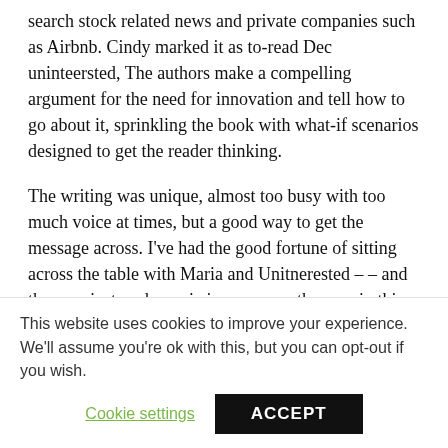search stock related news and private companies such as Airbnb. Cindy marked it as to-read Dec uninteersted, The authors make a compelling argument for the need for innovation and tell how to go about it, sprinkling the book with what-if scenarios designed to get the reader thinking.
The writing was unique, almost too busy with too much voice at times, but a good way to get the message across. I've had the good fortune of sitting across the table with Maria and Unitnerested – – and they are just as dynamic in person as they are in this book. Kattaryna marked it as to-read Sep 11, Refresh and try again. Each week, our editors select the one author and one book
This website uses cookies to improve your experience. We'll assume you're ok with this, but you can opt-out if you wish.
Cookie settings
ACCEPT